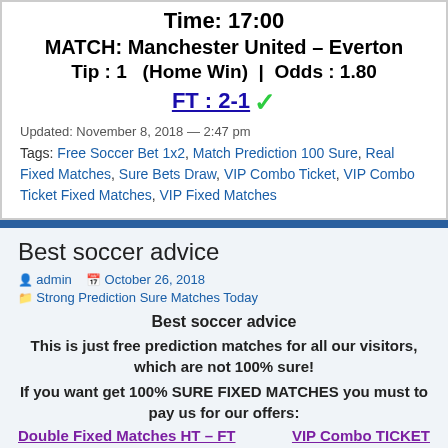Time: 17:00
MATCH: Manchester United – Everton
Tip : 1   (Home Win)  |   Odds : 1.80
FT : 2-1 ✓
Updated: November 8, 2018 — 2:47 pm
Tags: Free Soccer Bet 1x2, Match Prediction 100 Sure, Real Fixed Matches, Sure Bets Draw, VIP Combo Ticket, VIP Combo Ticket Fixed Matches, VIP Fixed Matches
Best soccer advice
admin  October 26, 2018
Strong Prediction Sure Matches Today
Best soccer advice
This is just free prediction matches for all our visitors, which are not 100% sure!
If you want get 100% SURE FIXED MATCHES you must to pay us for our offers:
Double Fixed Matches HT – FT    VIP Combo TICKET